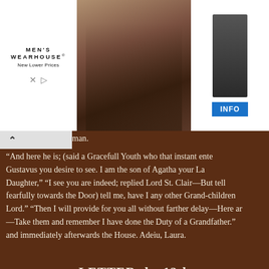[Figure (photo): Men's Wearhouse advertisement showing a couple in formal wear (man in dark suit, woman in formal dress) and a man in a suit, with an INFO button. Logo reads MEN'S WEARHOUSE New Lower Prices.]
man.
"And here he is; (said a Gracefull Youth who that instant entered the Room) the Gustavus you desire to see. I am the son of Agatha your Laurina's eldest Daughter," "I see you are indeed; replied Lord St. Clair—But tell me (looking fearfully towards the Door) tell me, have I any other Grand-children in the House." "None, Lord." "Then I will provide for you all without farther delay—Here are (pulling out a Bag) —Take them and remember I have done the Duty of a Grandfather." He instantly left the Room and immediately afterwards the House. Adeiu, Laura.
LETTER the 12th
LAURA in continuation
You may imagine how greatly we were surprised by the sudden departure of Lord St. Clair. "Ignoble Grand-sire!" exclaimed Sophia. "Unworthy Grandfather!" said we, as we flew into each other's arms. How long we remained in this situation I know not, but when we returned to ourselves we found ourselves alone, without either Gustavus, Philander, or the Bag.